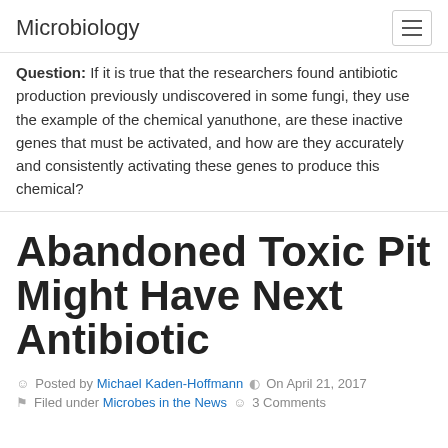Microbiology
Question: If it is true that the researchers found antibiotic production previously undiscovered in some fungi, they use the example of the chemical yanuthone, are these inactive genes that must be activated, and how are they accurately and consistently activating these genes to produce this chemical?
Abandoned Toxic Pit Might Have Next Antibiotic
Posted by Michael Kaden-Hoffmann  On April 21, 2017  Filed under Microbes in the News  3 Comments